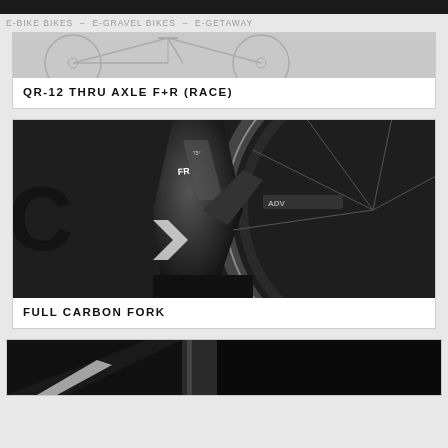E-BIKE BIKES  –  E-GRAVEL BIKES  –  E-GETAWAY
[Figure (photo): Partial cropped photo of a bicycle wheel and frame, black and white]
QR-12 THRU AXLE F+R (RACE)
[Figure (photo): Close-up black and white photograph of a full carbon bicycle fork meeting a wheel with tire]
FULL CARBON FORK
[Figure (photo): Partial cropped black and white photo of bicycle frame showing fork and front end, bottom of image cropped]